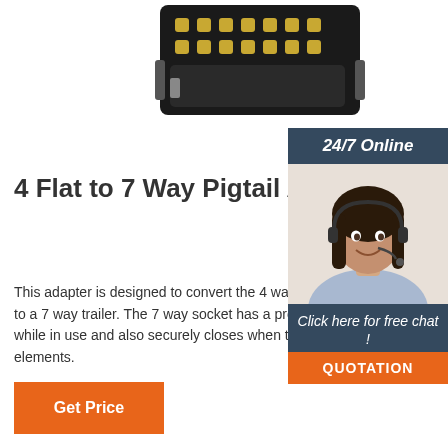[Figure (photo): Photo of a multi-pin electrical connector adapter (4 flat to 7 way pigtail adapter), black housing with gold pins, viewed from above.]
4 Flat to 7 Way Pigtail Adapter - conntekisi.com
This adapter is designed to convert the 4 way connection from the towing vehicle and connect to a 7 way trailer. The 7 way socket has a protective cap that securely holds the trailer cord while in use and also securely closes when the cord is unplugged to protect it from the elements.
[Figure (photo): 24/7 Online chat widget showing a smiling female customer service representative wearing a headset, with a dark blue-gray header reading '24/7 Online', a 'Click here for free chat!' link section, and an orange 'QUOTATION' button.]
Get Price